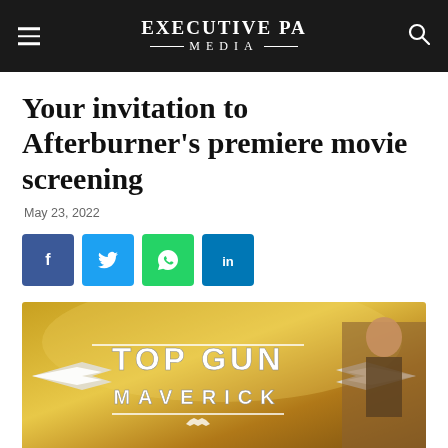EXECUTIVE PA MEDIA
Your invitation to Afterburner’s premiere movie screening
May 23, 2022
[Figure (other): Social media share buttons: Facebook (blue), Twitter (light blue), WhatsApp (green), LinkedIn (dark blue)]
[Figure (photo): Top Gun: Maverick movie promotional image showing the Top Gun Maverick logo with wings on a gold/yellow background with a person visible on the right side]